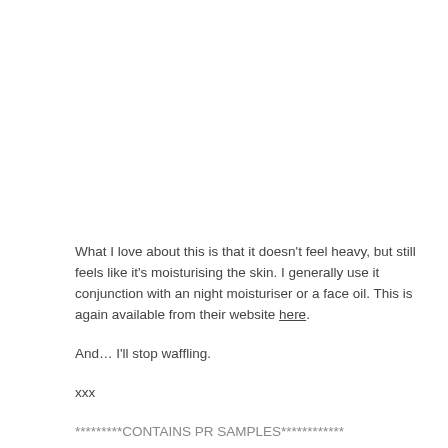What I love about this is that it doesn't feel heavy, but still feels like it's moisturising the skin. I generally use it conjunction with an night moisturiser or a face oil. This is again available from their website here.
And… I'll stop waffling.
xxx
*********CONTAINS PR SAMPLES************